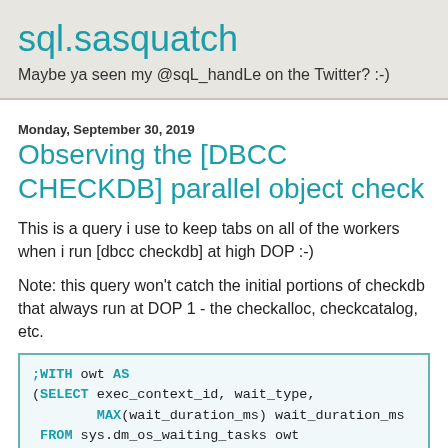sql.sasquatch
Maybe ya seen my @sqL_handLe on the Twitter? :-)
Monday, September 30, 2019
Observing the [DBCC CHECKDB] parallel object check
This is a query i use to keep tabs on all of the workers when i run [dbcc checkdb] at high DOP :-)
Note: this query won't catch the initial portions of checkdb that always run at DOP 1 - the checkalloc, checkcatalog, etc.
;WITH owt AS
(SELECT exec_context_id, wait_type,
        MAX(wait_duration_ms) wait_duration_ms
 FROM sys.dm_os_waiting_tasks owt